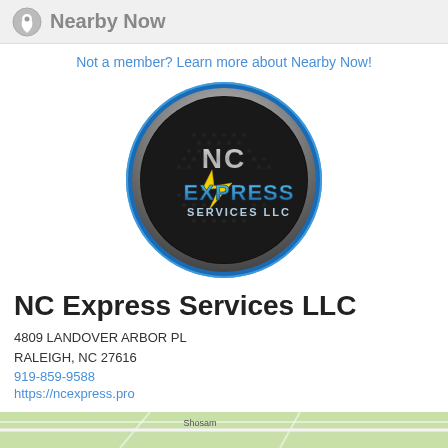Nearby Now
Not a member? Learn more about Nearby Now!
[Figure (logo): NC Express Services LLC circular logo with dark metallic background, honeycomb texture, NC text in silver, EXPRESS in blue block letters, SERVICES LLC below, yellow lightning bolt accent]
NC Express Services LLC
4809 LANDOVER ARBOR PL
RALEIGH, NC 27616
919-859-9588
https://ncexpress.pro
[Figure (map): Partial street map showing Shosam area]